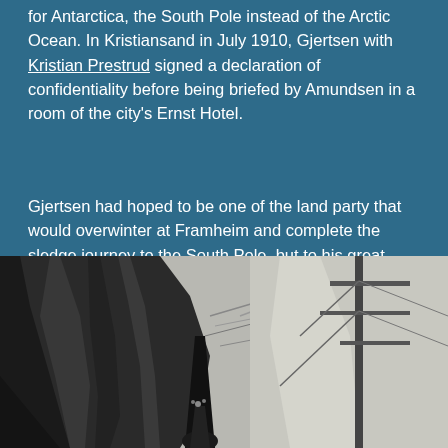for Antarctica, the South Pole instead of the Arctic Ocean. In Kristiansand in July 1910, Gjertsen with Kristian Prestrud signed a declaration of confidentiality before being briefed by Amundsen in a room of the city's Ernst Hotel.
Gjertsen had hoped to be one of the land party that would overwinter at Framheim and complete the sledge journey to the South Pole, but to his great disappointment was ordered to remain on board Fram and take part in the oceanographic cruise in the South Atlantic.
[Figure (photo): Black and white historical photograph showing figures on what appears to be a ship, with rigging and sails visible in the background.]